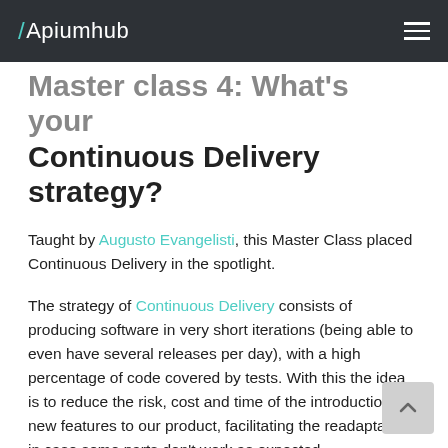Apiumhub
Master class 4: What's your Continuous Delivery strategy?
Taught by Augusto Evangelisti, this Master Class placed Continuous Delivery in the spotlight.
The strategy of Continuous Delivery consists of producing software in very short iterations (being able to even have several releases per day), with a high percentage of code covered by tests. With this the idea is to reduce the risk, cost and time of the introduction of new features to our product, facilitating the readaptation in case some parts don't work as expected.
Throughout this class we have put together the most common errors that occur throughout the software life